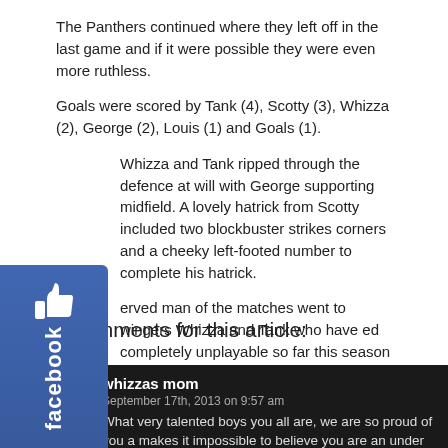The Panthers continued where they left off in the last game and if it were possible they were even more ruthless.
Goals were scored by Tank (4), Scotty (3), Whizza (2), George (2), Louis (1) and Goals (1).
Whizza and Tank ripped through the defence at will with George supporting midfield. A lovely hatrick from Scotty included two blockbuster strikes corners and a cheeky left-footed number to complete his hatrick.
erved man of the matches went to wingers Whizza and Tank who have ed completely unplayable so far this season and bagged 11 goals ween them today.
done boys, some beautiful football and some great goals!
[Figure (logo): Facebook like widget/button on left side]
2 comments for this article:
whizzas mom
September 17th, 2013 on 9:57 am
What very talented boys you all are, we are so proud of you a makes it impossible to believe you are an under 9's team. Le